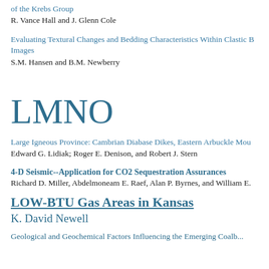of the Krebs Group
R. Vance Hall and J. Glenn Cole
Evaluating Textural Changes and Bedding Characteristics Within Clastic B... Images
S.M. Hansen and B.M. Newberry
LMNO
Large Igneous Province: Cambrian Diabase Dikes, Eastern Arbuckle Mou...
Edward G. Lidiak; Roger E. Denison, and Robert J. Stern
4-D Seismic--Application for CO2 Sequestration Assurances
Richard D. Miller, Abdelmoneam E. Raef, Alan P. Byrnes, and William E.
LOW-BTU Gas Areas in Kansas
K. David Newell
Geological and Geochemical Factors Influencing the Emerging Coalb...